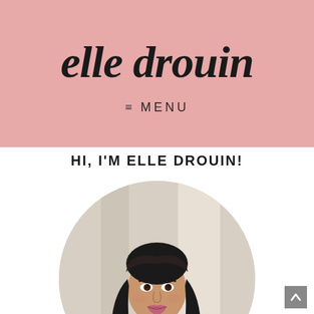elle drouin
≡  MENU
HI, I'M ELLE DROUIN!
[Figure (photo): Circular cropped photo of Elle Drouin, a woman with long dark hair, wearing a black polka-dot top, smiling, with a blurred light background.]